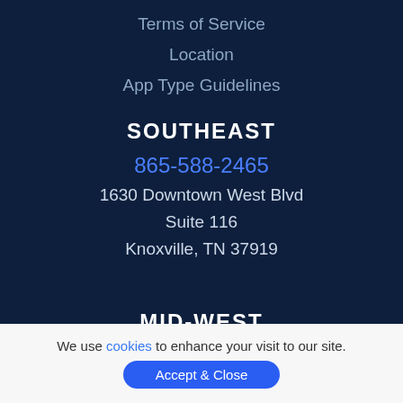Terms of Service
Location
App Type Guidelines
SOUTHEAST
865-588-2465
1630 Downtown West Blvd
Suite 116
Knoxville, TN 37919
MID-WEST
612-567-5459
We use cookies to enhance your visit to our site.
Accept & Close